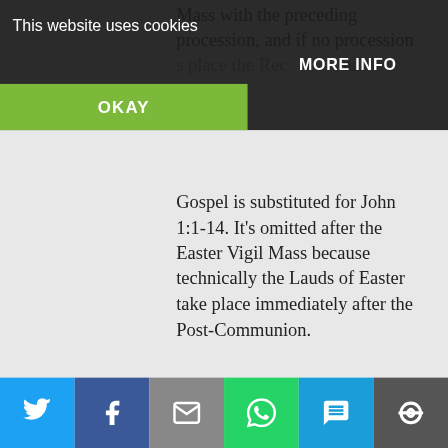Mass with the preceding procession, and if no procession takes place the Recessional Gospel is substituted for John 1:1-14. It's omitted after the Easter Vigil Mass because technically the Lauds of Easter take place immediately after the Post-Communion.
Reply
LB236
JULY 26, 2017 AT 8:30 AM
[Figure (screenshot): Cookie consent banner with OKAY button and MORE INFO option overlaid on website content]
[Figure (infographic): Social share bar at bottom with Twitter, Facebook, Email, WhatsApp, SMS, and More buttons]